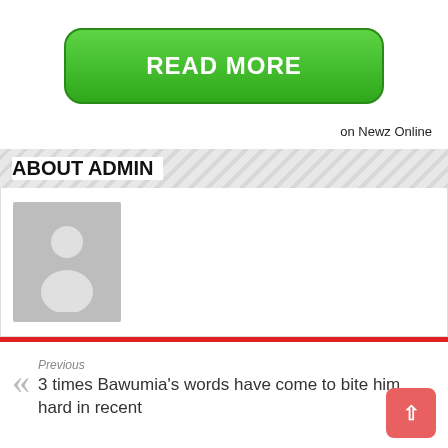[Figure (other): Green rounded button with white bold uppercase text 'READ MORE']
on Newz Online
ABOUT ADMIN
[Figure (photo): Generic grey placeholder avatar image showing a silhouette of a person]
Previous
3 times Bawumia's words have come to bite him hard in recent